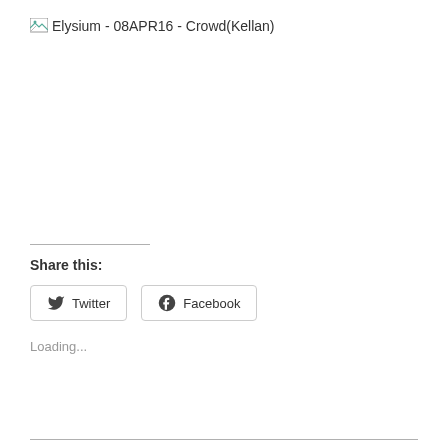[Figure (photo): Broken image placeholder with alt text: Elysium - 08APR16 - Crowd(Kellan)]
Share this:
Twitter  Facebook
Loading...